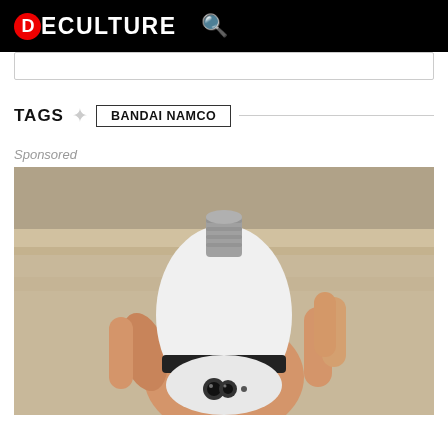DECULTURE
TAGS   BANDAI NAMCO
Sponsored
[Figure (photo): A hand holding a white smart light bulb security camera device with a black band and camera lens visible at the bottom, against a wooden shelf background.]